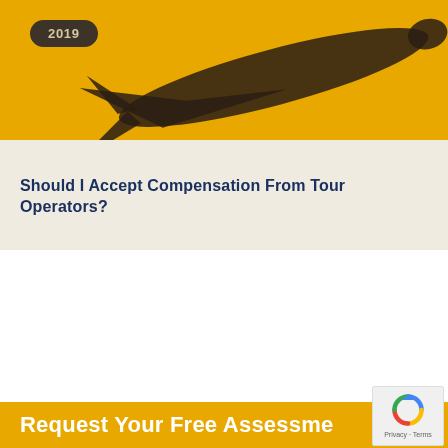[Figure (photo): Woman with blonde hair thinking or pondering, standing against a beach/ocean background]
Should I Make A Holiday Illness Claim?
[Figure (photo): Shadow of an airplane on an orange/amber background with a '2019' badge label]
Should I Accept Compensation From Tour Operators?
Request Your Free Assessment
[Figure (logo): reCAPTCHA logo badge with Privacy and Terms links]